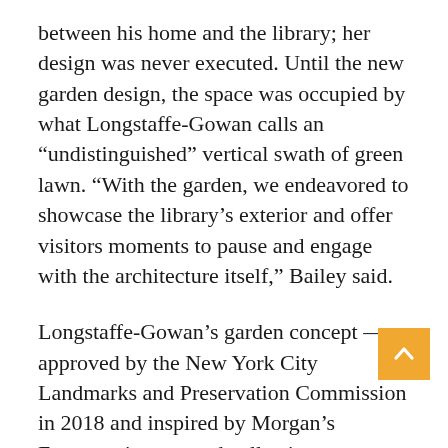between his home and the library; her design was never executed. Until the new garden design, the space was occupied by what Longstaffe-Gowan calls an “undistinguished” vertical swath of green lawn. “With the garden, we endeavored to showcase the library’s exterior and offer visitors moments to pause and engage with the architecture itself,” Bailey said.
Longstaffe-Gowan’s garden concept — approved by the New York City Landmarks and Preservation Commission in 2018 and inspired by Morgan’s Eurocentric taste and collections — includes bluestone paths whose patterns echo the floor of the library and exterior paving, as well as pebblework pavements created by a Sicilian craftsman using stones from the shores of the